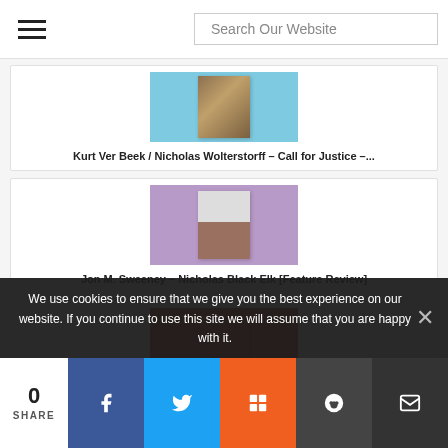Search Our Website
[Figure (other): Book cover thumbnail for Kurt Ver Beek / Nicholas Wolterstorff - Call for Justice, shown on blue background]
Kurt Ver Beek / Nicholas Wolterstorff - Call for Justice -...
[Figure (other): Book cover thumbnail for Jon M. Sweeney - Nicholas Black Elk [Feature Review], shown on purple background with a Native American portrait]
Jon M. Sweeney – Nicholas Black Elk [Feature Review]
[Figure (other): Book cover for Reformed Public Theology, shown on red/orange background]
We use cookies to ensure that we give you the best experience on our website. If you continue to use this site we will assume that you are happy with it.
0 SHARE | Facebook | Twitter | Mix | Reddit | Email